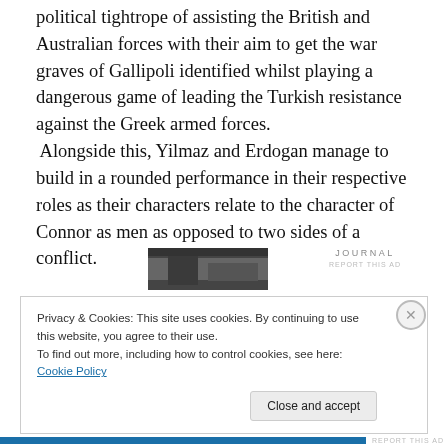political tightrope of assisting the British and Australian forces with their aim to get the war graves of Gallipoli identified whilst playing a dangerous game of leading the Turkish resistance against the Greek armed forces. Alongside this, Yilmaz and Erdogan manage to build in a rounded performance in their respective roles as their characters relate to the character of Connor as men as opposed to two sides of a conflict.
[Figure (photo): A small dark photograph showing a scene, likely from the film being reviewed.]
[Figure (logo): JOURNAL logo with REPORT THIS AD text below]
Privacy & Cookies: This site uses cookies. By continuing to use this website, you agree to their use.
To find out more, including how to control cookies, see here: Cookie Policy